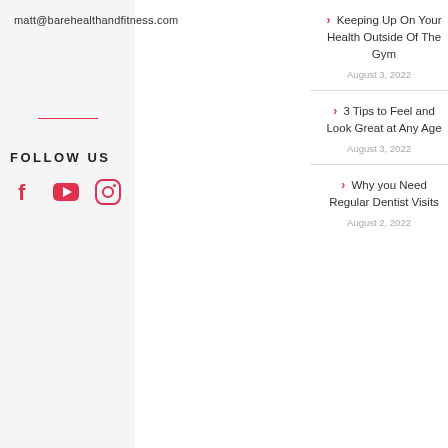matt@barehealthandfitness.com
FOLLOW US
[Figure (other): Social media icons: Facebook, YouTube, Instagram]
Keeping Up On Your Health Outside Of The Gym — August 3, 2022
3 Tips to Feel and Look Great at Any Age — August 3, 2022
Why you Need Regular Dentist Visits — August 2, 2022